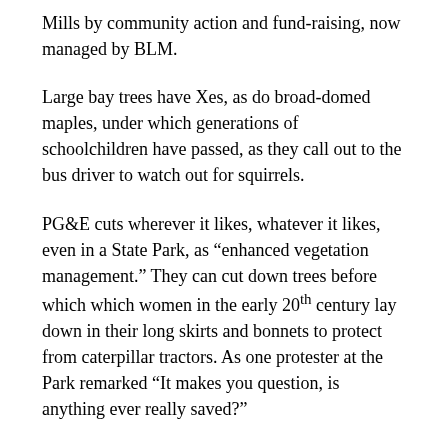Mills by community action and fund-raising, now managed by BLM.
Large bay trees have Xes, as do broad-domed maples, under which generations of schoolchildren have passed, as they call out to the bus driver to watch out for squirrels.
PG&E cuts wherever it likes, whatever it likes, even in a State Park, as “enhanced vegetation management.” They can cut down trees before which which women in the early 20th century lay down in their long skirts and bonnets to protect from caterpillar tractors. As one protester at the Park remarked “It makes you question, is anything ever really saved?”
There are regulations which determine how far from the power lines PG&E is permitted to cut. One amiable and apologetic arborist said they could go 00 feet if there